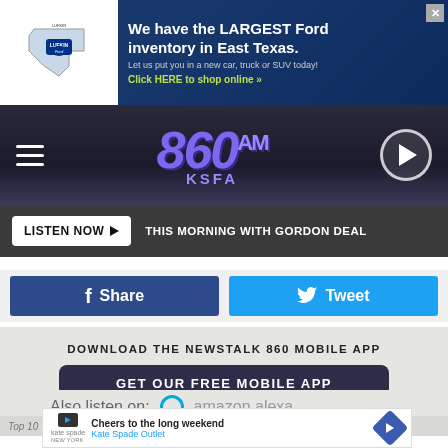[Figure (screenshot): Lufkin Ford advertisement banner: Texas state shape with Lufkin Ford logo on left, dark blue background on right with text 'We have the LARGEST Ford inventory in East Texas. Let us put you in a new car, truck or SUV today! Click HERE to shop online']
[Figure (logo): 860 AM KSFA radio station header with navy background, hamburger menu on left, stylized purple 860 AM KSFA logo in center, circular play button on right]
LISTEN NOW ► THIS MORNING WITH GORDON DEAL
f Share
Tweet
DOWNLOAD THE NEWSTALK 860 MOBILE APP
GET OUR FREE MOBILE APP
Also listen on: amazon alexa
Top 10 Ways to Show Your Cats You Love Them
Cheers to the long weekend
Kate Spade Outlet